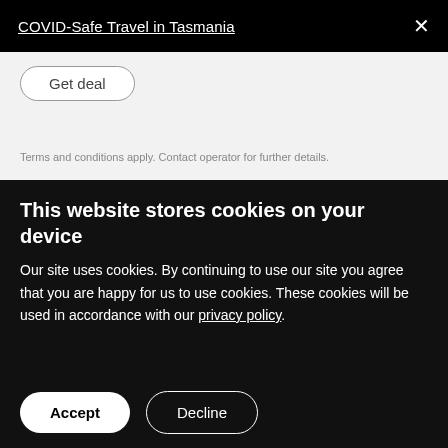COVID-Safe Travel in Tasmania
Get deal
Terms and conditions apply. Contact operator for further details.
This website stores cookies on your device
Our site uses cookies. By continuing to use our site you agree that you are happy for us to use cookies. These cookies will be used in accordance with our privacy policy.
Accept
Decline